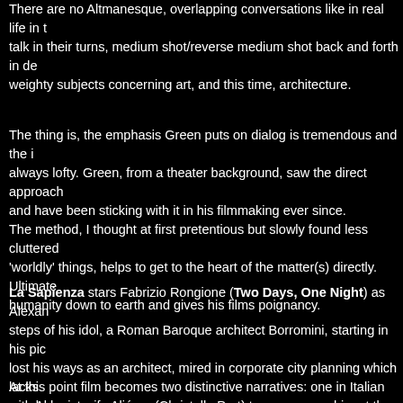There are no Altmanesque, overlapping conversations like in real life in t... talk in their turns, medium shot/reverse medium shot back and forth in de... weighty subjects concerning art, and this time, architecture.
The thing is, the emphasis Green puts on dialog is tremendous and the i... always lofty. Green, from a theater background, saw the direct approach ... and have been sticking with it in his filmmaking ever since.
The method, I thought at first pretentious but slowly found less cluttered ... 'worldly' things, helps to get to the heart of the matter(s) directly. Ultimate... humanity down to earth and gives his films poignancy.
La Sapienza stars Fabrizio Rongione (Two Days, One Night) as Alexan... steps of his idol, a Roman Baroque architect Borromini, starting in his pic... lost his ways as an architect, mired in corporate city planning which lacks ... psychologist wife Aliénor (Christelle Prot) to accompany him at the confe... though they love each other.
They run into two young Italian siblings Godfredo (Ludovico Succio) and ... picturesque lake promenade. It's Lavinia's mysterious fainting spell that b... insists to be by Lavinia's bedside and suggests Alexandre to take Godfred... accompany him for his research trip, instead of her. Alexandre begrudgin...
At this point film becomes two distinctive narratives: one in Italian with Al... mostly in French with Aliénor with Lavinia indoors. The guys establish te...